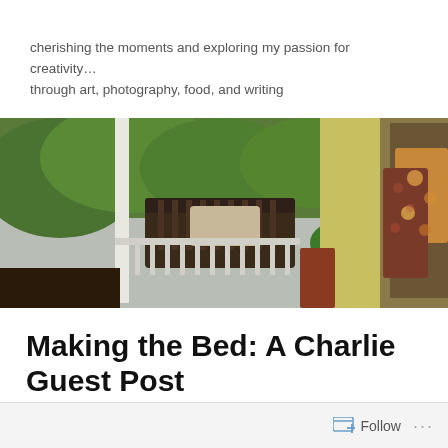cherishing the moments and exploring my passion for creativity… through art, photography, food, and writing
[Figure (photo): Wide banner photo showing a wooden porch with a bench swing with a cushion on the left side, lush green trees visible beyond the railing, potted fern near the house, and on the right side an interior nook with colorful floral and patterned throw pillows on a wooden chair.]
Making the Bed: A Charlie Guest Post
Follow ···